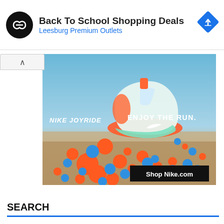[Figure (screenshot): Advertisement banner for Back To School Shopping Deals at Leesburg Premium Outlets with circular logo (infinity-like symbol on black background), navigation arrow icon in blue diamond shape, and ad control icons]
[Figure (photo): Nike Joyride shoe advertisement showing a white and mint running shoe surrounded by colorful orange and blue spheres/balls on a sandy surface with blue sky background. Text reads 'NIKE JOYRIDE ENJOY THE RUN.' with 'Shop Nike.com' button.]
SEARCH